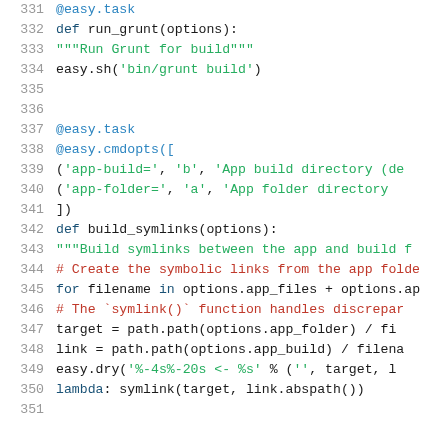Code block lines 331-351 showing Python source code with decorators, function definitions, and comments.